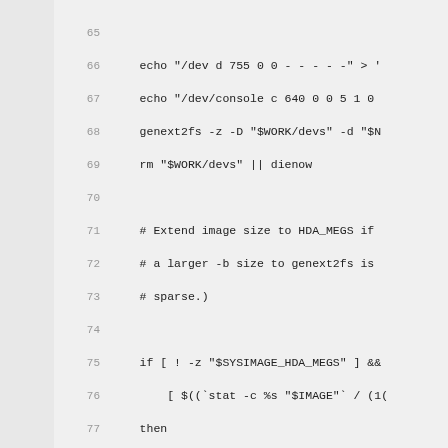Code listing lines 65-92 showing shell script for image building with ext2/squashfs support
65: (empty)
66:     echo "/dev d 755 0 0 - - - - -" > '
67:     echo "/dev/console c 640 0 0 5 1 0
68:     genext2fs -z -D "$WORK/devs" -d "$N
69:     rm "$WORK/devs" || dienow
70: (empty)
71:     # Extend image size to HDA_MEGS if
72:     # a larger -b size to genext2fs is
73:     # sparse.)
74: (empty)
75:     if [ ! -z "$SYSIMAGE_HDA_MEGS" ] &&
76:         [ $((`stat -c %s "$IMAGE"` / (1(
77:     then
78:       echo resizing image to $SYSIMAGE_
79:       resize2fs "$IMAGE" ${SYSIMAGE_HDA
80:       echo resize complete
81:     fi
82: (empty)
83: elif [ "$SYSIMAGE_TYPE" == "squashfs'
84: then
85:     mksquashfs "${NATIVE_ROOT}" "$STAG
86:         ${FORK:+-no-progress} -p "/dev d
87:         -p "/dev/console c 666 0 0 5 1"
88: else
89:     echo "Unknown image type $SYSIMAGE_
90:     dienow
91: fi
92: (empty)